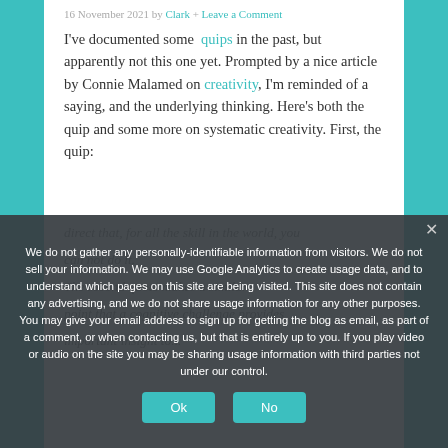16 November 2021 by Clark + Leave a Comment
I've documented some quips in the past, but apparently not this one yet. Prompted by a nice article by Connie Malamed on creativity, I'm reminded of a saying, and the underlying thinking. Here's both the quip and some more on systematic creativity. First, the quip:
We do not gather any personally-identifiable information from visitors. We do not sell your information. We may use Google Analytics to create usage data, and to understand which pages on this site are being visited. This site does not contain any advertising, and we do not share usage information for any other purposes. You may give your email address to sign up for getting the blog as email, as part of a comment, or when contacting us, but that is entirely up to you. If you play video or audio on the site you may be sharing usage information with third parties not under our control.